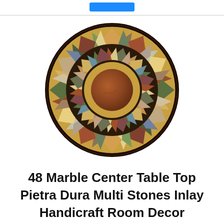[Figure (photo): Circular marble mosaic table top with Pietra Dura inlay design featuring multicolored stone tiles arranged in a sunflower/mandala pattern with a central brownish-red circular stone and concentric rings of diamond-shaped colored stone tiles on a golden/tan background]
48 Marble Center Table Top Pietra Dura Multi Stones Inlay Handicraft Room Decor